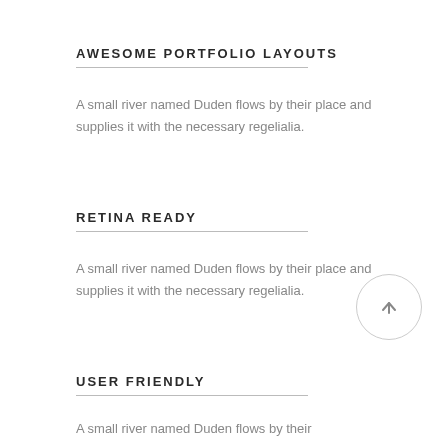AWESOME PORTFOLIO LAYOUTS
A small river named Duden flows by their place and supplies it with the necessary regelialia.
RETINA READY
A small river named Duden flows by their place and supplies it with the necessary regelialia.
USER FRIENDLY
A small river named Duden flows by their